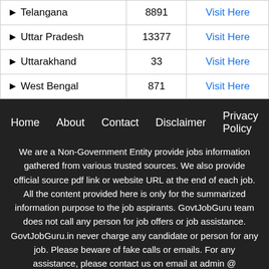| State | Count | Link |
| --- | --- | --- |
| ▶ Telangana | 8891 | Visit Here |
| ▶ Uttar Pradesh | 13377 | Visit Here |
| ▶ Uttarakhand | 33 | Visit Here |
| ▶ West Bengal | 871 | Visit Here |
Home   About   Contact   Disclaimer   Privacy Policy
We are a Non-Government Entity provide jobs information gathered from various trusted sources. We also provide official source pdf link or website URL at the end of each job. All the content provided here is only for the summarized information purpose to the job aspirants. GovtJobGuru team does not call any person for job offers or job assistance. GovtJobGuru.in never charge any candidate or person for any job. Please beware of fake calls or emails. For any assistance, please contact us on email at admin @ govtjobguru.in While all efforts have been made to make the Information available on this App/website as Authentic as possible. We are not responsible for any loss to anybody or anything caused by any Shortcoming,